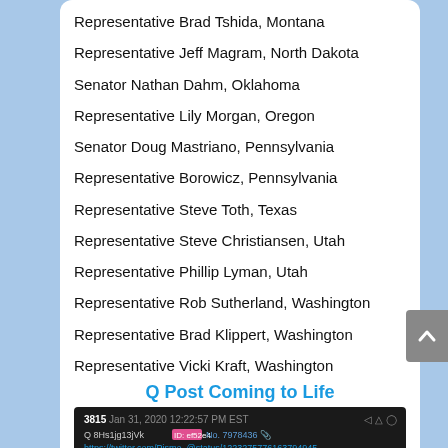Representative Brad Tshida, Montana
Representative Jeff Magram, North Dakota
Senator Nathan Dahm, Oklahoma
Representative Lily Morgan, Oregon
Senator Doug Mastriano, Pennsylvania
Representative Borowicz, Pennsylvania
Representative Steve Toth, Texas
Representative Steve Christiansen, Utah
Representative Phillip Lyman, Utah
Representative Rob Sutherland, Washington
Representative Brad Klippert, Washington
Representative Vicki Kraft, Washington
Representative Tim Ramthun, Wisconsin
Q Post Coming to Life
[Figure (screenshot): Screenshot of Q post #3815 dated Jan 31, 2020 12:22:57 PM EST, showing a link to twitter.com/Pismo_ and text 'What happens when people learn the TRUTH? What happens when people WAKE UP?']